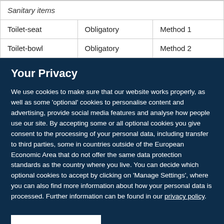|  |  |  |
| --- | --- | --- |
| Sanitary items |  |  |
| Toilet-seat | Obligatory | Method 1 |
| Toilet-bowl | Obligatory | Method 2 |
Your Privacy
We use cookies to make sure that our website works properly, as well as some 'optional' cookies to personalise content and advertising, provide social media features and analyse how people use our site. By accepting some or all optional cookies you give consent to the processing of your personal data, including transfer to third parties, some in countries outside of the European Economic Area that do not offer the same data protection standards as the country where you live. You can decide which optional cookies to accept by clicking on 'Manage Settings', where you can also find more information about how your personal data is processed. Further information can be found in our privacy policy.